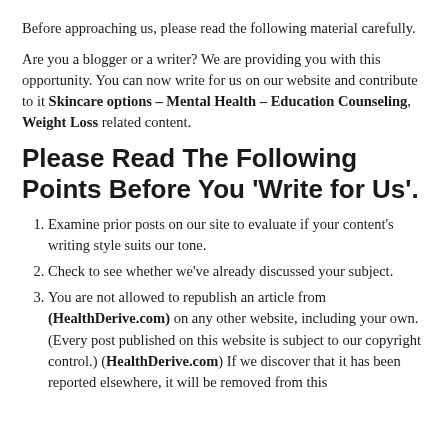Before approaching us, please read the following material carefully.
Are you a blogger or a writer? We are providing you with this opportunity. You can now write for us on our website and contribute to it Skincare options – Mental Health – Education Counseling, Weight Loss related content.
Please Read The Following Points Before You 'Write for Us'.
Examine prior posts on our site to evaluate if your content's writing style suits our tone.
Check to see whether we've already discussed your subject.
You are not allowed to republish an article from (HealthDerive.com) on any other website, including your own. (Every post published on this website is subject to our copyright control.) (HealthDerive.com) If we discover that it has been reported elsewhere, it will be removed from this